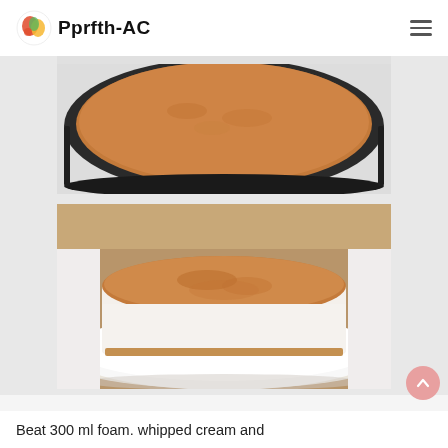Pprfth-AC
[Figure (photo): A round springform pan viewed from above containing a cake with a light brown crumb-dusted top surface, set on a white surface.]
[Figure (photo): A round tiramisu-style cake with a cocoa powder-dusted top, sitting on a white plate. The cake shows a white creamy layer and a biscuit base. Placed on a white lace doily on a wooden surface.]
Beat 300 ml foam. whipped cream and